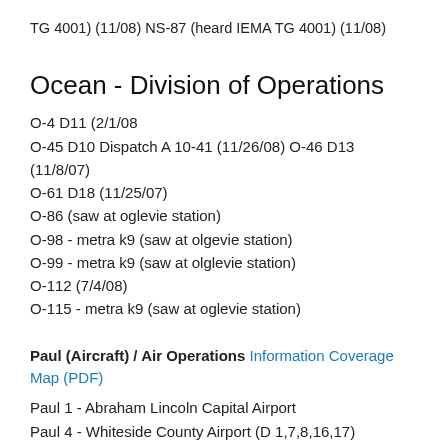TG 4001) (11/08) NS-87 (heard IEMA TG 4001) (11/08)
Ocean - Division of Operations
O-4 D11 (2/1/08
O-45 D10 Dispatch A 10-41 (11/26/08) O-46 D13 (11/8/07)
O-61 D18 (11/25/07)
O-86 (saw at oglevie station)
O-98 - metra k9 (saw at olgevie station)
O-99 - metra k9 (saw at olglevie station)
O-112 (7/4/08)
O-115 - metra k9 (saw at oglevie station)
Paul (Aircraft) / Air Operations Information Coverage Map (PDF)
Paul 1 - Abraham Lincoln Capital Airport
Paul 4 - Whiteside County Airport (D 1,7,8,16,17)